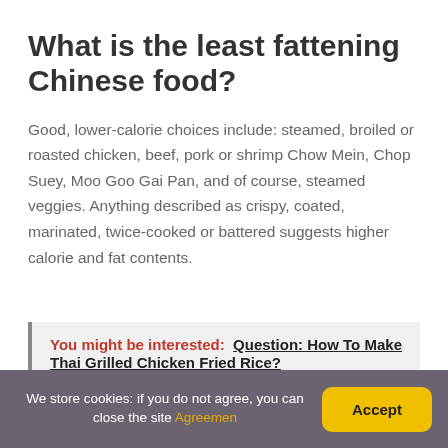What is the least fattening Chinese food?
Good, lower-calorie choices include: steamed, broiled or roasted chicken, beef, pork or shrimp Chow Mein, Chop Suey, Moo Goo Gai Pan, and of course, steamed veggies. Anything described as crispy, coated, marinated, twice-cooked or battered suggests higher calorie and fat contents.
You might be interested:  Question: How To Make Thai Grilled Chicken Fried Rice?
We store cookies: if you do not agree, you can close the site Agreemen